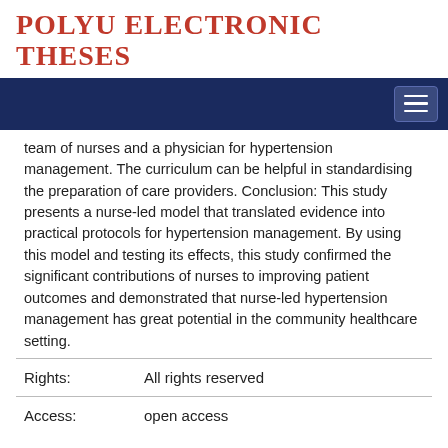POLYU ELECTRONIC THESES
team of nurses and a physician for hypertension management. The curriculum can be helpful in standardising the preparation of care providers. Conclusion: This study presents a nurse-led model that translated evidence into practical protocols for hypertension management. By using this model and testing its effects, this study confirmed the significant contributions of nurses to improving patient outcomes and demonstrated that nurse-led hypertension management has great potential in the community healthcare setting.
Rights:	All rights reserved
Access:	open access